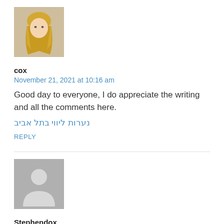[Figure (photo): Avatar photo of a blonde woman]
cox
November 21, 2021 at 10:16 am
Good day to everyone, I do appreciate the writing and all the comments here.
נערות ליווי בתל אביב
REPLY
[Figure (illustration): Default grey avatar placeholder with person silhouette]
Stephendox
November 22, 2021 at 7:47 pm
Элементы лестниц оптом, кухни на заказ, двери